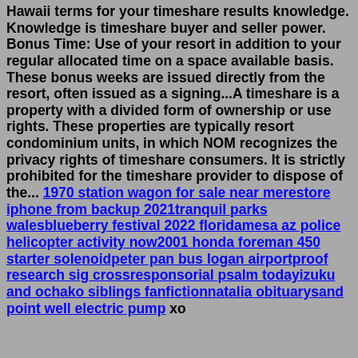Hawaii terms for your timeshare results knowledge. Knowledge is timeshare buyer and seller power. Bonus Time: Use of your resort in addition to your regular allocated time on a space available basis. These bonus weeks are issued directly from the resort, often issued as a signing...A timeshare is a property with a divided form of ownership or use rights. These properties are typically resort condominium units, in which NOM recognizes the privacy rights of timeshare consumers. It is strictly prohibited for the timeshare provider to dispose of the... 1970 station wagon for sale near merestore iphone from backup 2021tranquil parks walesblueberry festival 2022 floridamesa az police helicopter activity now2001 honda foreman 450 starter solenoidpeter pan bus logan airportproof research sig crossresponsorial psalm todayizuku and ochako siblings fanfictionnatalia obituarysand point well electric pump xo